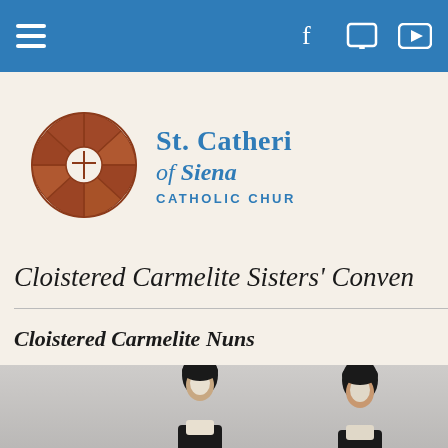Navigation bar with hamburger menu and social/media icons (Facebook, tablet, YouTube)
[Figure (logo): St. Catherine of Siena Catholic Church logo with circular rose window icon in brown and church name in blue]
Cloistered Carmelite Sisters' Conven
Cloistered Carmelite Nuns
[Figure (photo): Photo of two Carmelite nuns in black and white habits, cropped at bottom of page]